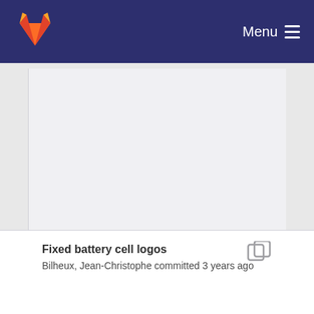[Figure (logo): GitLab fox logo in top-left of navy navigation bar]
Menu
[Figure (screenshot): Large blank/empty content area with light gray background]
Fixed battery cell logos
Bilheux, Jean-Christophe committed 3 years ago